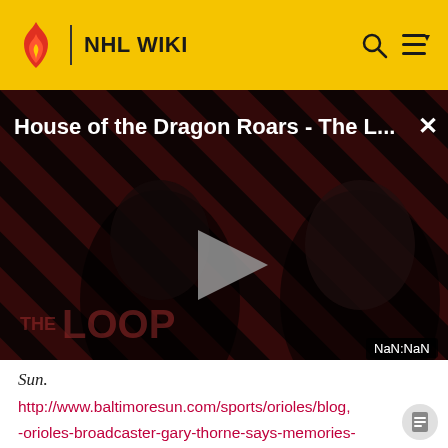NHL WIKI
[Figure (screenshot): Video thumbnail for 'House of the Dragon Roars - The L...' showing two people in dark lighting with diagonal red/black striped background, 'THE LOOP' text watermark, a play button triangle in center, and 'NaN:NaN' timer label at bottom right.]
Sun.
http://www.baltimoresun.com/sports/orioles/blog, -orioles-broadcaster-gary-thorne-says-memories-of-1989-world-series-earthquake-still-vivid-20141024-story.html.